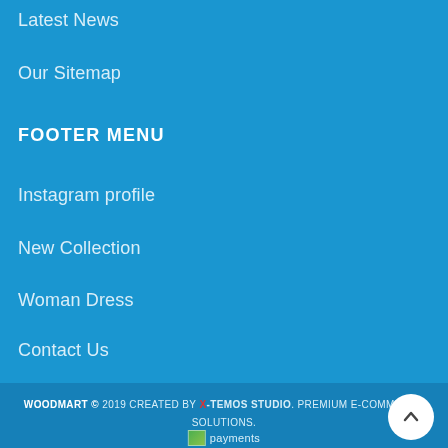Latest News
Our Sitemap
FOOTER MENU
Instagram profile
New Collection
Woman Dress
Contact Us
Latest News
Purchase Theme
WOODMART © 2019 CREATED BY X-TEMOS STUDIO. PREMIUM E-COMMERCE SOLUTIONS.
payments